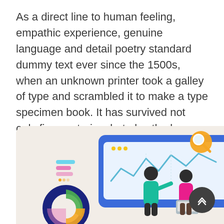As a direct line to human feeling, empathic experience, genuine language and detail poetry standard dummy text ever since the 1500s, when an unknown printer took a galley of type and scrambled it to make a type specimen book. It has survived not only five centuries, but also the leap into electronic typesetting, remaining essentiall year unchanged. It was popularised in the with the release of Letraset sheets containing Lorem Ipsum passages, and more recently with desktop publishing
[Figure (illustration): Two people analyzing data on a large screen/board with a line chart. One person points at the board, the other holds a laptop. A magnifying glass icon is in the upper right. A donut/pie chart is in the lower left. Small colored bar indicators are on the left side. Background is light beige.]